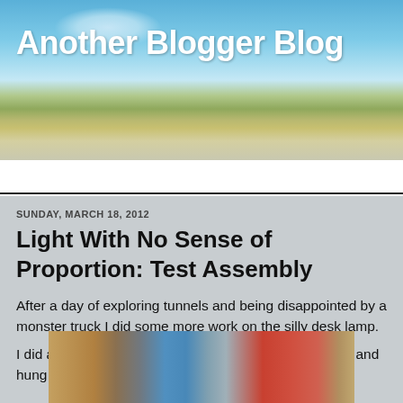Another Blogger Blog
Blog
SUNDAY, MARCH 18, 2012
Light With No Sense of Proportion: Test Assembly
After a day of exploring tunnels and being disappointed by a monster truck I did some more work on the silly desk lamp.
I did a test fit of the new hanger described in Part Four and hung the lamp shade from it.
[Figure (photo): Workshop photo showing wooden boards, blue fabric, and tools on a workbench with a red cabinet visible in the background]